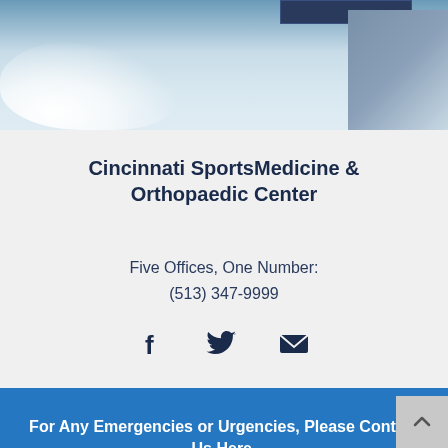[Figure (photo): Winter sports background photo showing snow splash and skier, partially cropped at top of page]
Cincinnati SportsMedicine & Orthopaedic Center
Five Offices, One Number:
(513) 347-9999
[Figure (infographic): Social media icons: Facebook, Twitter, Email]
For Any Emergencies or Urgencies, Please Contact Us Here.
Copyright © 2022 Cincinnati SportsMedicine & Orthopaedic Center. All Rights Reserved.